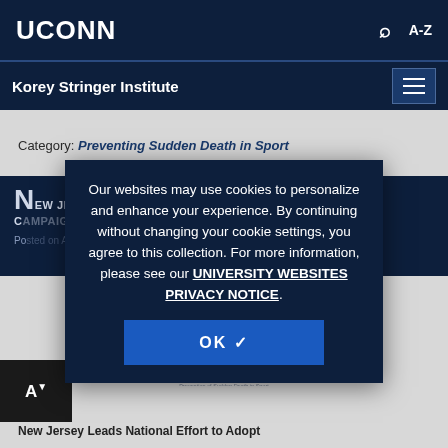UCONN
Korey Stringer Institute
Category: Preventing Sudden Death in Sport
NEW JERSEY CHAMPIONS FOR YOUR SAFETY CAMPAIGN
Posted on August...
[Figure (logo): Korey Stringer Institute logo with text 'University of Connecticut Prevention of Sudden Death in Sport']
Our websites may use cookies to personalize and enhance your experience. By continuing without changing your cookie settings, you agree to this collection. For more information, please see our UNIVERSITY WEBSITES PRIVACY NOTICE.
OK ✓
New Jersey Leads National Effort to Adopt